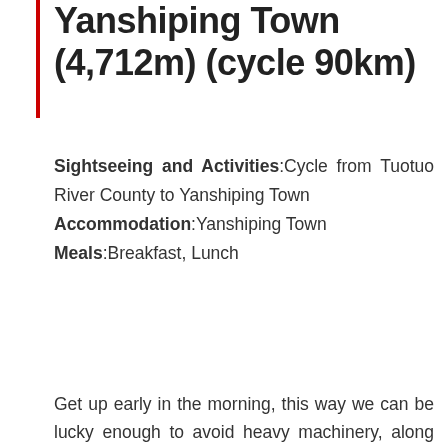Yanshiping Town (4,712m) (cycle 90km)
Sightseeing and Activities:Cycle from Tuotuo River County to Yanshiping Town
Accommodation:Yanshiping Town
Meals:Breakfast, Lunch
Get up early in the morning, this way we can be lucky enough to avoid heavy machinery, along with the elements